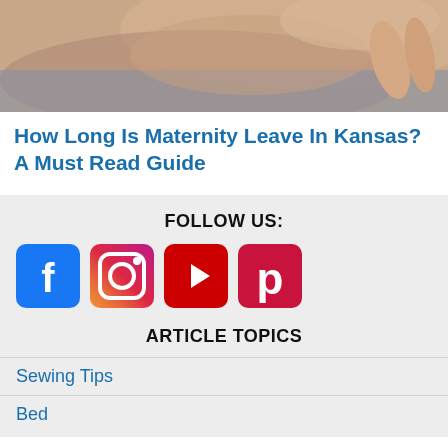[Figure (photo): Partial photo showing what appears to be a person's arm or shoulder area, cropped at the top]
How Long Is Maternity Leave In Kansas? A Must Read Guide
FOLLOW US:
[Figure (illustration): Social media icons: Facebook (blue), Instagram (gradient purple-pink), YouTube (red), Pinterest (dark red)]
ARTICLE TOPICS
Sewing Tips
Bed